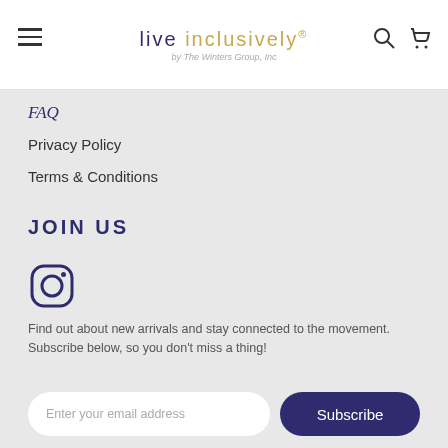live inclusively® by The Winters Group, Inc
FAQ
Privacy Policy
Terms & Conditions
JOIN US
[Figure (logo): Instagram icon]
Find out about new arrivals and stay connected to the movement.
Subscribe below, so you don't miss a thing!
Enter your email address | Subscribe